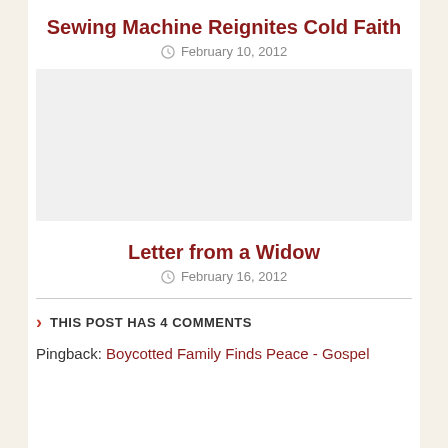Sewing Machine Reignites Cold Faith
February 10, 2012
[Figure (other): Gray placeholder image block]
Letter from a Widow
February 16, 2012
THIS POST HAS 4 COMMENTS
Pingback: Boycotted Family Finds Peace - Gospel